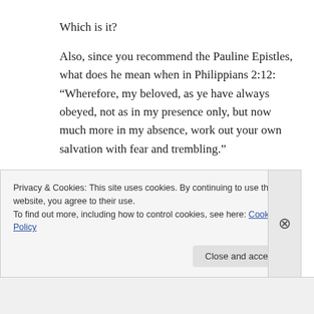Which is it?
Also, since you recommend the Pauline Epistles, what does he mean when in Philippians 2:12: “Wherefore, my beloved, as ye have always obeyed, not as in my presence only, but now much more in my absence, work out your own salvation with fear and trembling.”
Specifically, what does he mean when he says, “work out your own salvation with fear and
Privacy & Cookies: This site uses cookies. By continuing to use this website, you agree to their use.
To find out more, including how to control cookies, see here: Cookie Policy
Close and accept